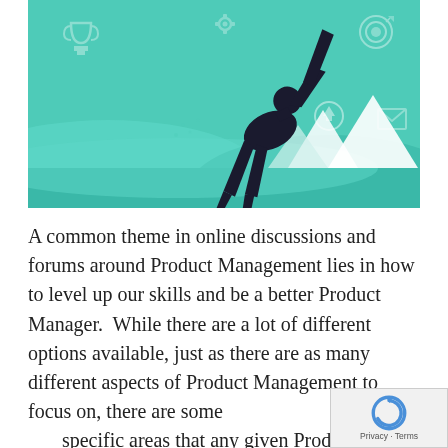[Figure (illustration): Teal-colored illustration of a silhouetted figure leaping/flying diagonally across the image, with icons including a trophy, gear/cog, target, upward arrow, envelope, and white mountain peaks in the background.]
A common theme in online discussions and forums around Product Management lies in how to level up our skills and be a better Product Manager.  While there are a lot of different options available, just as there are as many different aspects of Product Management to focus on, there are some specific areas that any given Product Man...